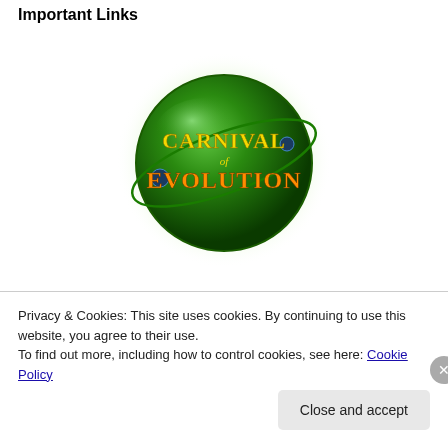Important Links
[Figure (logo): Carnival of Evolution logo — a green glowing globe with 'CARNIVAL of EVOLUTION' text in yellow/orange letters]
[Figure (logo): Join the National Center for Science Education! — dark button with white text]
[Figure (logo): Donate — PayPal yellow donate button]
Privacy & Cookies: This site uses cookies. By continuing to use this website, you agree to their use.
To find out more, including how to control cookies, see here: Cookie Policy